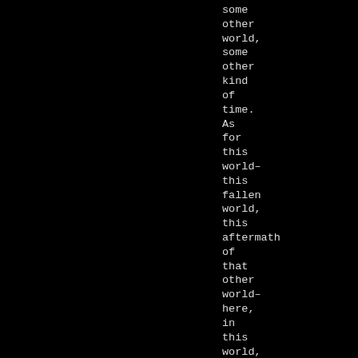some other world, some other kind of time. As for this world– this fallen world, this aftermath of that other world– here, in this world,